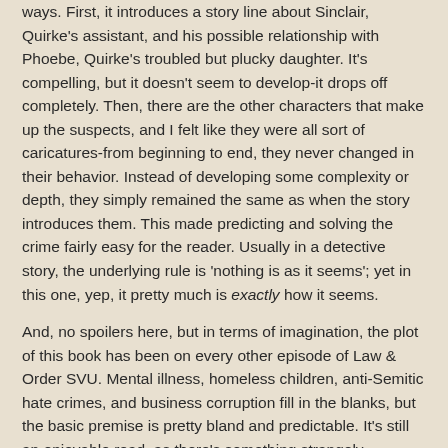ways.  First, it introduces a story line about Sinclair, Quirke's assistant, and his possible relationship with Phoebe, Quirke's troubled but plucky daughter.  It's compelling, but it doesn't seem to develop-it drops off completely.  Then, there are the other characters that make up the suspects, and I felt like they were all sort of caricatures-from beginning to end, they never changed in their behavior.  Instead of developing some complexity or depth, they simply remained the same as when the story introduces them. This made predicting and solving the crime fairly easy for the reader.  Usually in a detective story, the underlying rule is 'nothing is as it seems';  yet in this one, yep, it pretty much is exactly how it seems.
And, no spoilers here, but in terms of imagination, the plot of this book has been on every other episode of Law & Order SVU.  Mental illness, homeless children, anti-Semitic hate crimes, and business corruption fill in the blanks, but the basic premise is pretty bland and predictable.  It's still an enjoyable read, as there's something strangely peaceful about the old-school sleuthing that Quirke does.
Special thanks to Jason Leibman of Henry Holt for the